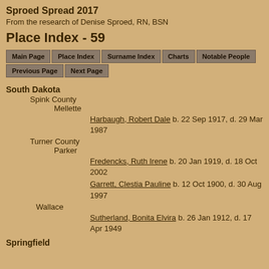Sproed Spread 2017
From the research of Denise Sproed, RN, BSN
Place Index - 59
Main Page | Place Index | Surname Index | Charts | Notable People | Previous Page | Next Page
South Dakota
Spink County
Mellette
Harbaugh, Robert Dale  b. 22 Sep 1917, d. 29 Mar 1987
Turner County
Parker
Fredencks, Ruth Irene  b. 20 Jan 1919, d. 18 Oct 2002
Garrett, Clestia Pauline  b. 12 Oct 1900, d. 30 Aug 1997
Wallace
Sutherland, Bonita Elvira  b. 26 Jan 1912, d. 17 Apr 1949
Springfield